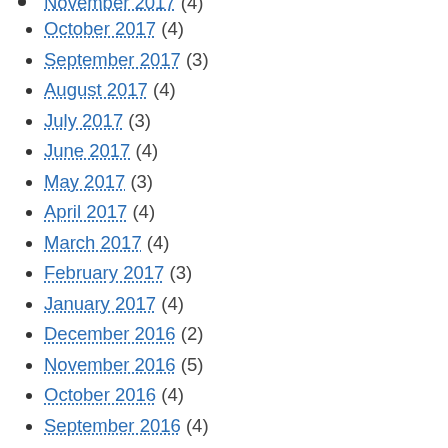November 2017 (4)
October 2017 (4)
September 2017 (3)
August 2017 (4)
July 2017 (3)
June 2017 (4)
May 2017 (3)
April 2017 (4)
March 2017 (4)
February 2017 (3)
January 2017 (4)
December 2016 (2)
November 2016 (5)
October 2016 (4)
September 2016 (4)
August 2016 (6)
July 2016 (3)
June 2016 (5)
May 2016 (3)